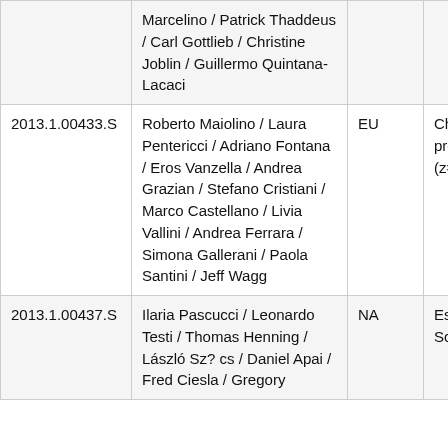| ID | Authors | Region | Description |
| --- | --- | --- | --- |
|  | Marcelino / Patrick Thaddeus / Carl Gottlieb / Christine Joblin / Guillermo Quintana-Lacaci |  |  |
| 2013.1.00433.S | Roberto Maiolino / Laura Pentericci / Adriano Fontana / Eros Vanzella / Andrea Grazian / Stefano Cristiani / Marco Castellano / Livia Vallini / Andrea Ferrara / Simona Gallerani / Paola Santini / Jeff Wagg | EU | Chara nature proto primo (z=7.1 |
| 2013.1.00437.S | Ilaria Pascucci / Leonardo Testi / Thomas Henning / László Sz? cs / Daniel Apai / Fred Ciesla / Gregory | NA | Estab Mass Scalin |